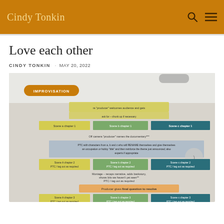Cindy Tonkin
Love each other
CINDY TONKIN · MAY 20, 2022
[Figure (photo): Photo of a flowchart document showing documentary structure with scenes a, b, c across chapters 1, 2, 3 with an IMPROVISATION label overlay. Contains colored blocks (yellow, green, teal, light blue, orange) labeling scenes, PTCs, montage sections, and producer roles. Footnotes about meta comments and pieces to camera.]